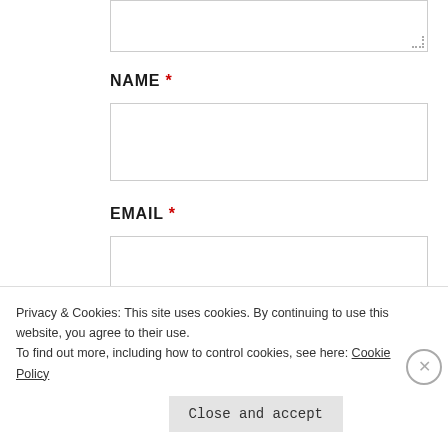[Figure (screenshot): Partial textarea input field at top of page with resize handle]
NAME *
[Figure (screenshot): Empty text input field for NAME]
EMAIL *
[Figure (screenshot): Empty text input field for EMAIL]
WEBSITE
[Figure (screenshot): Empty text input field for WEBSITE]
Privacy & Cookies: This site uses cookies. By continuing to use this website, you agree to their use.
To find out more, including how to control cookies, see here: Cookie Policy
Close and accept